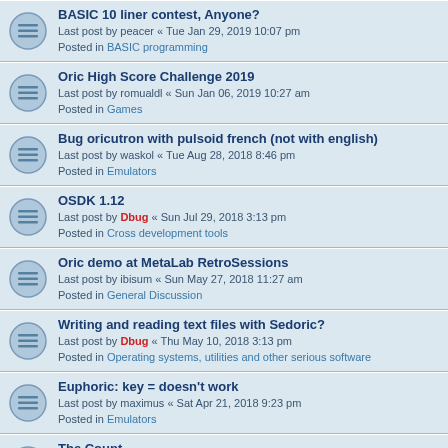BASIC 10 liner contest, Anyone?
Last post by peacer « Tue Jan 29, 2019 10:07 pm
Posted in BASIC programming
Oric High Score Challenge 2019
Last post by romualdl « Sun Jan 06, 2019 10:27 am
Posted in Games
Bug oricutron with pulsoid french (not with english)
Last post by waskol « Tue Aug 28, 2018 8:46 pm
Posted in Emulators
OSDK 1.12
Last post by Dbug « Sun Jul 29, 2018 3:13 pm
Posted in Cross development tools
Oric demo at MetaLab RetroSessions
Last post by ibisum « Sun May 27, 2018 11:27 am
Posted in General Discussion
Writing and reading text files with Sedoric?
Last post by Dbug « Thu May 10, 2018 3:13 pm
Posted in Operating systems, utilities and other serious software
Euphoric: key = doesn't work
Last post by maximus « Sat Apr 21, 2018 9:23 pm
Posted in Emulators
The Count
Last post by Dom « Fri Feb 09, 2018 6:20 pm
Posted in Games
Alternative joystick interface in cc65
Last post by polluks « Sun Nov 05, 2017 9:47 pm